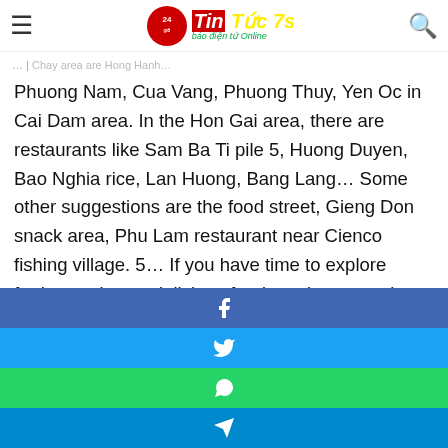Tin Tức 7s - báo điện tử Online
Chay area are Hong Hanh, Phuong Nam, Cua Vang, Phuong Thuy, Yen Oc in Cai Dam area. In the Hon Gai area, there are restaurants like Sam Ba Ti pile 5, Huong Duyen, Bao Nghia rice, Lan Huong, Bang Lang… Some other suggestions are the food street, Gieng Don snack area, Phu Lam restaurant near Cienco fishing village. 5… If you have time to explore further and want delicious food, rustic processing, you should go to Quang Yen area, Thong Nhat commune, Hoanh Bo district.
Today's Ha Long beach town, besides its natural beauty and
[Figure (infographic): Social share buttons: Facebook (blue), Twitter (light blue), WhatsApp (green), Telegram (cyan/blue)]